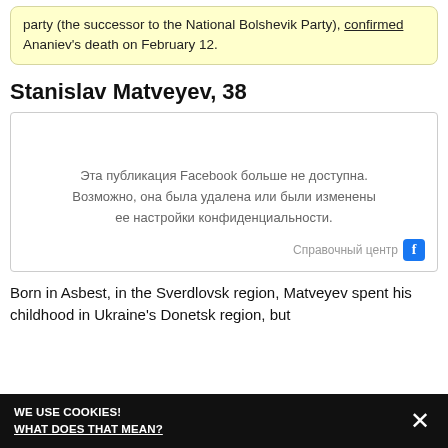party (the successor to the National Bolshevik Party), confirmed Ananiev's death on February 12.
Stanislav Matveyev, 38
[Figure (screenshot): Embedded Facebook post placeholder showing Russian text: 'Эта публикация Facebook больше не доступна. Возможно, она была удалена или были изменены ее настройки конфиденциальности.' with 'Справочный центр' help link and Facebook icon.]
Born in Asbest, in the Sverdlovsk region, Matveyev spent his childhood in Ukraine's Donetsk region, but
WE USE COOKIES! WHAT DOES THAT MEAN?